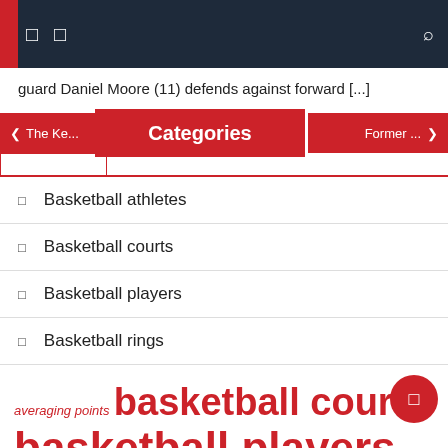Navigation bar with icons
guard Daniel Moore (11) defends against forward [...]
Categories
Basketball athletes
Basketball courts
Basketball players
Basketball rings
averaging points  basketball courts  basketball players  basketball team